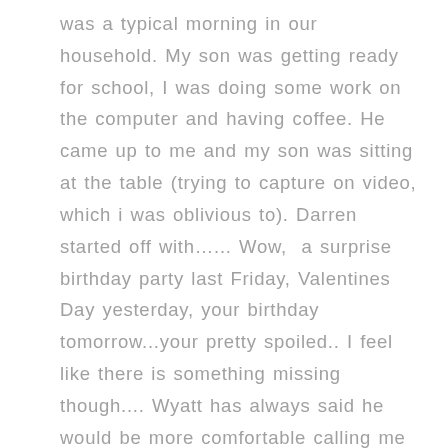was a typical morning in our household. My son was getting ready for school, I was doing some work on the computer and having coffee. He came up to me and my son was sitting at the table (trying to capture on video, which i was oblivious to). Darren started off with…... Wow, a surprise birthday party last Friday, Valentines Day yesterday, your birthday tomorrow...your pretty spoiled.. I feel like there is something missing though.... Wyatt has always said he would be more comfortable calling me Dad if we were to get married, so maybe we should make that happen...